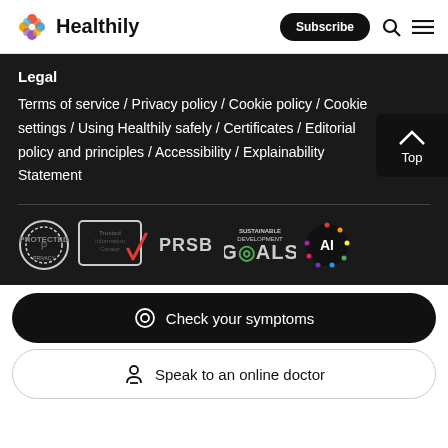Healthily — Subscribe
Legal
Terms of service / Privacy policy / Cookie policy / Cookie settings / Using Healthily safely / Certificates / Editorial policy and principles / Accessibility / Explainability Statement
[Figure (logo): Row of certification and partner logos: PIF Tick (Protected by Private), Trusted Information Creator, PRSB, Sustainable Development Goals, and an AI badge]
Check your symptoms
Speak to an online doctor